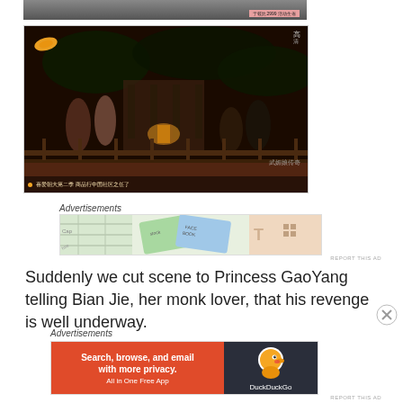[Figure (screenshot): Partial top strip of a Chinese video streaming page, dark background with pink/salmon colored bar and Chinese text]
[Figure (screenshot): Chinese drama video thumbnail showing characters in traditional costumes in a garden setting at night, with an orange leaf logo, HD badge, watermark text, and Chinese subtitles bar at the bottom]
Advertisements
[Figure (screenshot): WordPress VIP advertisement banner with map/social media background imagery and 'Learn more →' button]
REPORT THIS AD
Suddenly we cut scene to Princess GaoYang telling Bian Jie, her monk lover, that his revenge is well underway.
Advertisements
[Figure (screenshot): DuckDuckGo advertisement: orange left panel reading 'Search, browse, and email with more privacy. All in One Free App' and dark right panel with DuckDuckGo duck logo and text]
REPORT THIS AD